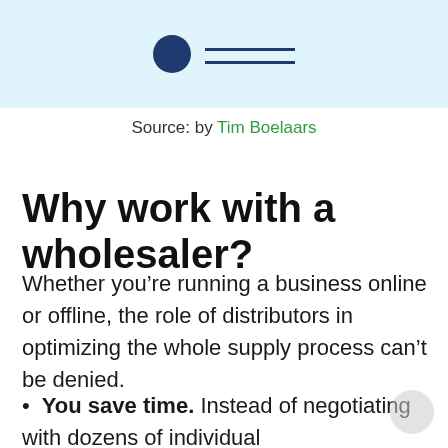[Figure (illustration): Light blue banner with a dark navy circle icon and a dark navy horizontal double line to its right, resembling a logo or header graphic.]
Source: by Tim Boelaars
Why work with a wholesaler?
Whether you’re running a business online or offline, the role of distributors in optimizing the whole supply process can’t be denied.
You save time. Instead of negotiating with dozens of individual